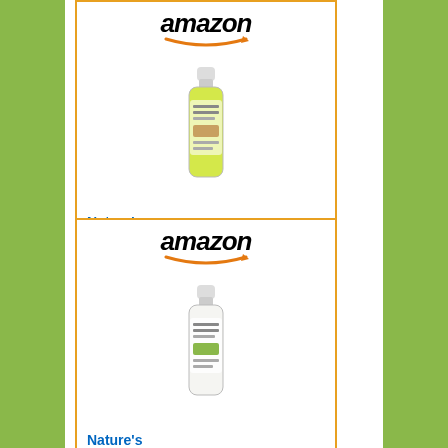[Figure (screenshot): Amazon product listing card 1: Amazon logo at top, bottle of Nature's Specialties product (yellow liquid), price $17.00 with Prime badge, Shop now button]
Nature's Specialties...
$17.00  ✓Prime
[Figure (screenshot): Amazon product listing card 2: Amazon logo at top, bottle of Nature's Specialties product (white bottle), Nature's Specialties... title, $19.50 with Prime badge]
Nature's Specialties...
$19.50  ✓Prime